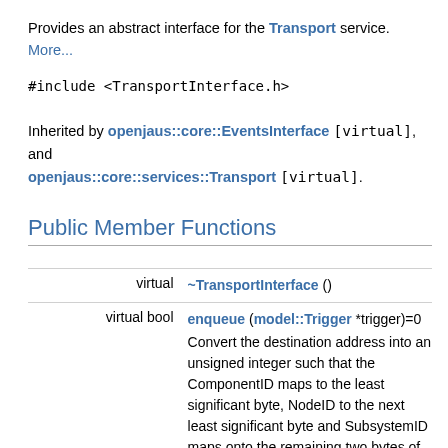Provides an abstract interface for the Transport service. More...
#include <TransportInterface.h>
Inherited by openjaus::core::EventsInterface [virtual], and openjaus::core::services::Transport [virtual].
Public Member Functions
|  |  |
| --- | --- |
| virtual | ~TransportInterface () |
| virtual bool | enqueue (model::Trigger *trigger)=0
Convert the destination address into an unsigned integer such that the ComponentID maps to the least significant byte, NodeID to the next least significant byte and SubsystemID maps onto the remaining two bytes of the integer. More... |